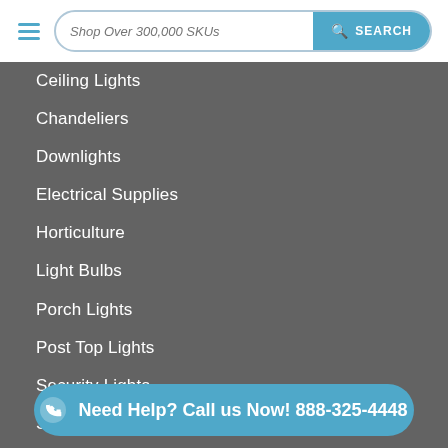Shop Over 300,000 SKUs — SEARCH
Ceiling Lights
Chandeliers
Downlights
Electrical Supplies
Horticulture
Light Bulbs
Porch Lights
Post Top Lights
Security Lights
Specialty Lights
String Lights
Track Lights
Vani...
Wa...
Indoor Lighting
Need Help? Call us Now! 888-325-4448